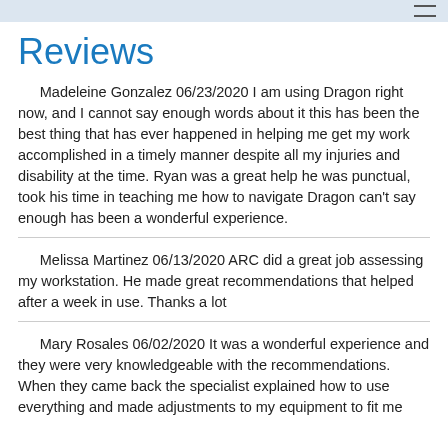Reviews
Madeleine Gonzalez 06/23/2020 I am using Dragon right now, and I cannot say enough words about it this has been the best thing that has ever happened in helping me get my work accomplished in a timely manner despite all my injuries and disability at the time. Ryan was a great help he was punctual, took his time in teaching me how to navigate Dragon can't say enough has been a wonderful experience.
Melissa Martinez 06/13/2020 ARC did a great job assessing my workstation. He made great recommendations that helped after a week in use. Thanks a lot
Mary Rosales 06/02/2020 It was a wonderful experience and they were very knowledgeable with the recommendations. When they came back the specialist explained how to use everything and made adjustments to my equipment to fit me